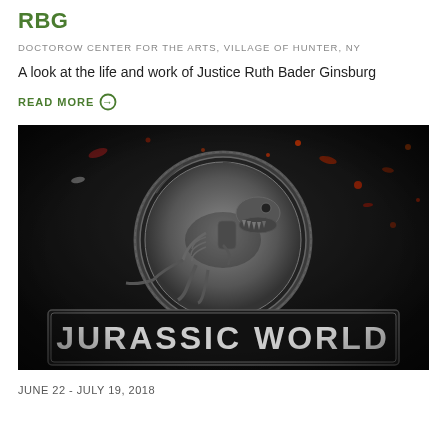RBG
DOCTOROW CENTER FOR THE ARTS, VILLAGE OF HUNTER, NY
A look at the life and work of Justice Ruth Bader Ginsburg
READ MORE →
[Figure (photo): Jurassic World movie logo with T-Rex skeleton emblem on dark background with embers/sparks, and 'JURASSIC WORLD' text at the bottom]
JUNE 22 - JULY 19, 2018